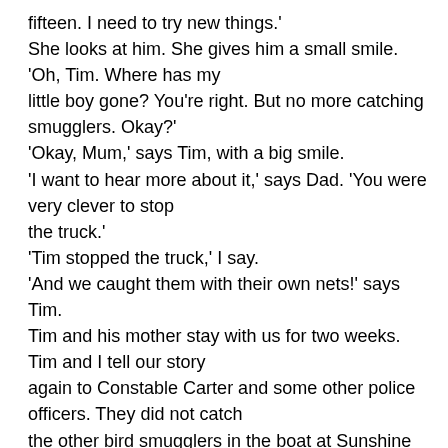fifteen. I need to try new things.' She looks at him. She gives him a small smile. 'Oh, Tim. Where has my little boy gone? You're right. But no more catching smugglers. Okay?' 'Okay, Mum,' says Tim, with a big smile. 'I want to hear more about it,' says Dad. 'You were very clever to stop the truck.' 'Tim stopped the truck,' I say. 'And we caught them with their own nets!' says Tim. Tim and his mother stay with us for two weeks. Tim and I tell our story again to Constable Carter and some other police officers. They did not catch the other bird smugglers in the boat at Sunshine Bay. But Tim and I are just happy the sea eagles are okay. I show Tim lots of things at Blue Moon Beach. Soon he can name most